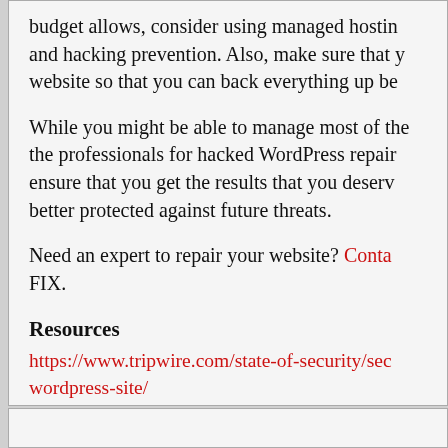budget allows, consider using managed hosting and hacking prevention. Also, make sure that you website so that you can back everything up be
While you might be able to manage most of the the professionals for hacked WordPress repair ensure that you get the results that you deserve better protected against future threats.
Need an expert to repair your website? Contact FIX.
Resources
https://www.tripwire.com/state-of-security/sec wordpress-site/
https://www.wpbeginner.com/beginners-guide hacked-wordpress-site/